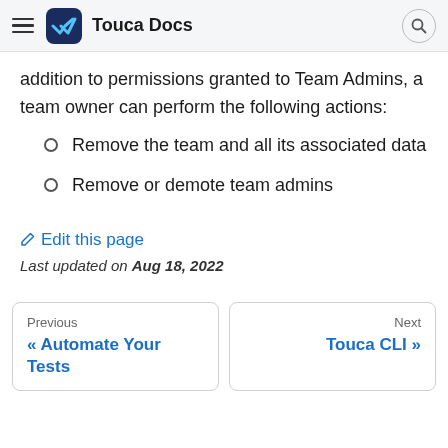Touca Docs
addition to permissions granted to Team Admins, a team owner can perform the following actions:
Remove the team and all its associated data
Remove or demote team admins
✏ Edit this page
Last updated on Aug 18, 2022
Previous « Automate Your Tests
Next Touca CLI »